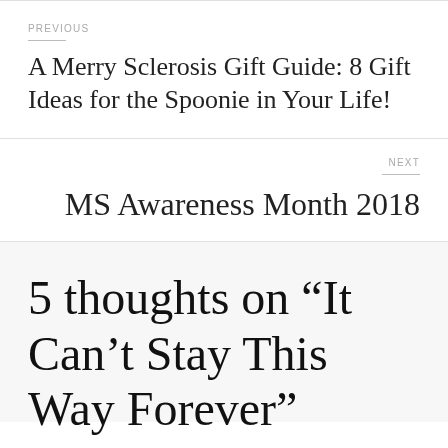PREVIOUS
A Merry Sclerosis Gift Guide: 8 Gift Ideas for the Spoonie in Your Life!
NEXT
MS Awareness Month 2018
5 thoughts on “It Can’t Stay This Way Forever”